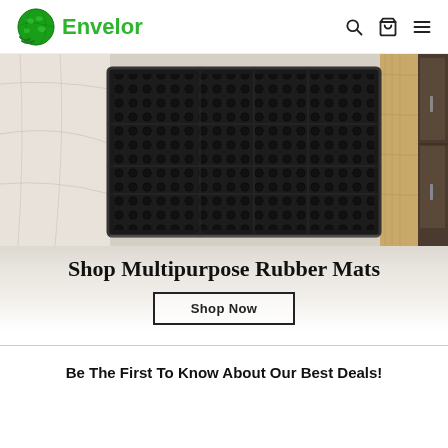Envelor
[Figure (photo): A black rubber mat with grid hole pattern laid on a light wood/tile floor next to dark wood cabinet storage unit]
Shop Multipurpose Rubber Mats
Shop Now
Be The First To Know About Our Best Deals!